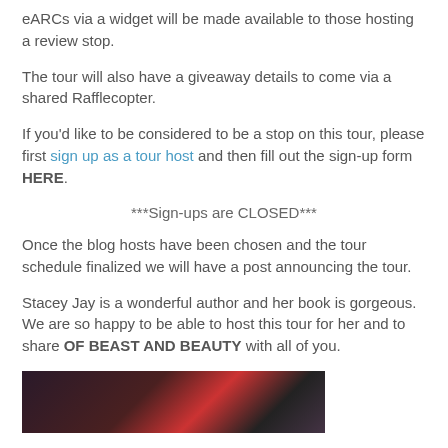eARCs via a widget will be made available to those hosting a review stop.
The tour will also have a giveaway details to come via a shared Rafflecopter.
If you'd like to be considered to be a stop on this tour, please first sign up as a tour host and then fill out the sign-up form HERE.
***Sign-ups are CLOSED***
Once the blog hosts have been chosen and the tour schedule finalized we will have a post announcing the tour.
Stacey Jay is a wonderful author and her book is gorgeous. We are so happy to be able to host this tour for her and to share OF BEAST AND BEAUTY with all of you.
[Figure (photo): Partial image of a book cover or related photo, dark background with red elements visible at bottom of page]